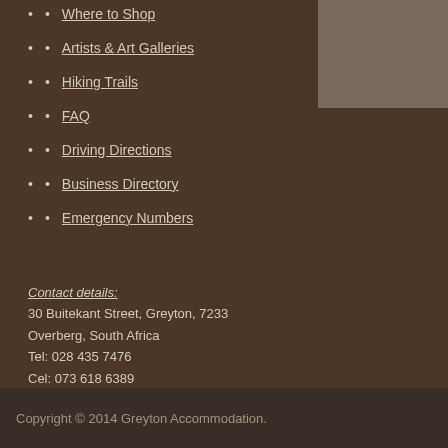Where to Shop
Artists & Art Galleries
Hiking Trails
FAQ
Driving Directions
Business Directory
Emergency Numbers
Contact details:
30 Buitekant Street, Greyton, 7233
Overberg, South Africa
Tel: 028 435 7476
Cel: 073 618 6389
E-mail: info@greytonaccommodation.com
Copyright © 2014 Greyton Accommodation.